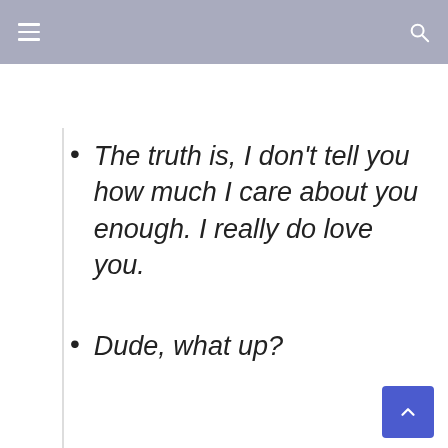The truth is, I don't tell you how much I care about you enough. I really do love you.
Dude, what up?